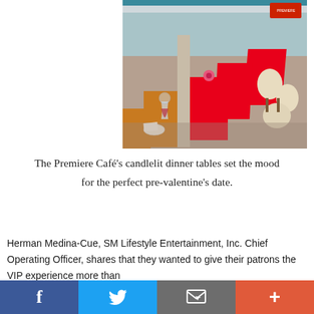[Figure (photo): Interior of Premiere Café with red tablecloths draped over dining tables, cream-colored curved chairs, candlelit setting, arranged in a row perspective view.]
The Premiere Café's candlelit dinner tables set the mood for the perfect pre-valentine's date.
Herman Medina-Cue, SM Lifestyle Entertainment, Inc. Chief Operating Officer, shares that they wanted to give their patrons the VIP experience more than